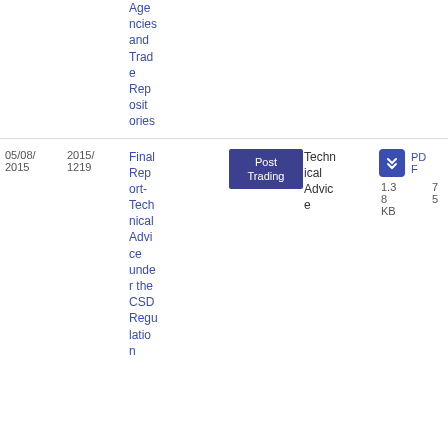| Date | Reference | Title | Topic | Type | Download |
| --- | --- | --- | --- | --- | --- |
|  |  | Agencies and Trade Repositories |  |  |  |
| 05/08/2015 | 2015/1219 | Final Report-Technical Advice under the CSD Regulation | Post Trading | Technical Advice | PDF 75 1.38 KB |